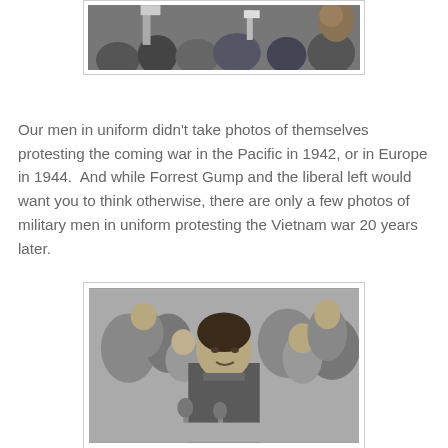[Figure (photo): Black and white photo of a crowd, partially cropped at top of page — appears to show protesters with signs]
Our men in uniform didn't take photos of themselves protesting the coming war in the Pacific in 1942, or in Europe in 1944.  And while Forrest Gump and the liberal left would want you to think otherwise, there are only a few photos of military men in uniform protesting the Vietnam war 20 years later.
[Figure (photo): Black and white photo of a young man in military uniform sitting at a table with microphones, surrounded by a crowd of people, some applauding — appears to be a congressional hearing or similar formal testimony setting]